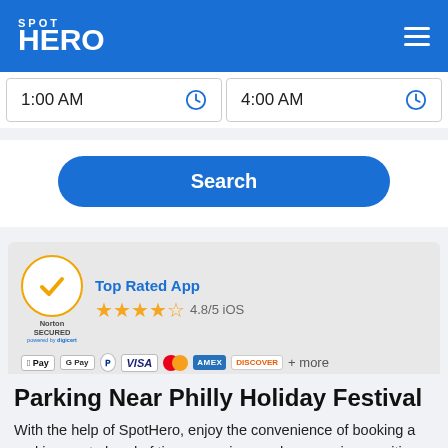SPOT HERO
1:00 AM
4:00 AM
Search
[Figure (logo): Norton Secured powered by digicert badge with gold checkmark circle]
Top Rated App
4.8/5 iOS
Apple Pay, Google Pay, PayPal, VISA, Mastercard, AMEX, Discover + more
Parking Near Philly Holiday Festival
With the help of SpotHero, enjoy the convenience of booking a parking spot ahead of time, ensuring you have a prime position for easy access to Philly...